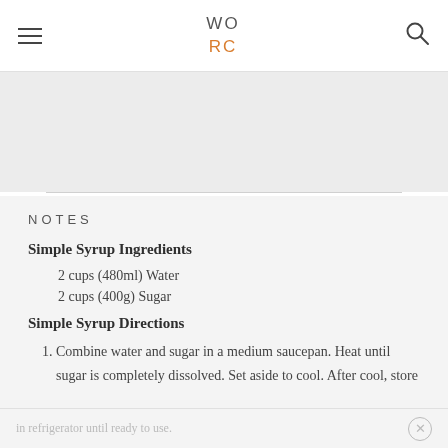WORC (logo with hamburger menu and search icon)
[Figure (photo): Light grey image area placeholder]
NOTES
Simple Syrup Ingredients
2 cups (480ml) Water
2 cups (400g) Sugar
Simple Syrup Directions
1. Combine water and sugar in a medium saucepan. Heat until sugar is completely dissolved. Set aside to cool. After cool, store
in refrigerator until ready to use.